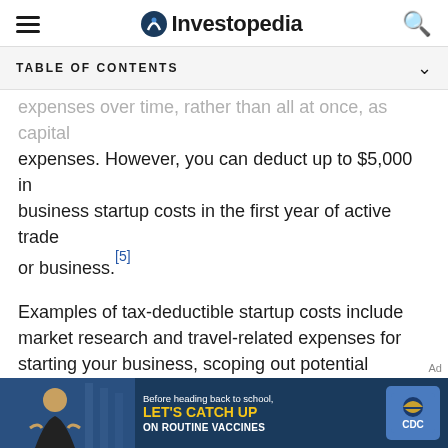Investopedia
TABLE OF CONTENTS
expenses over time, rather than all at once, as capital expenses. However, you can deduct up to $5,000 in business startup costs in the first year of active trade or business. [5]
Examples of tax-deductible startup costs include market research and travel-related expenses for starting your business, scoping out potential business locations, advertising, attorney fees, and accountant fees. The $5,000 deduction is reduced by the amount that your total startup cost exceeds $50,000. If you set up a corporation or LLC for your business, you can
[Figure (photo): CDC advertisement banner: Before heading back to school, Let's Catch Up on Routine Vaccines]